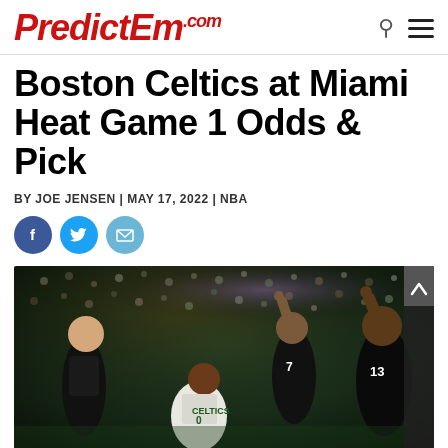PredictEm.com
Boston Celtics at Miami Heat Game 1 Odds & Pick
BY JOE JENSEN | MAY 17, 2022 | NBA
[Figure (other): Social media share buttons: Facebook, Twitter, Email]
[Figure (photo): Basketball game action photo showing Boston Celtics player in white/green Celtics jersey on the ground, surrounded by Miami Heat players in black jerseys with numbers 7 and 13 visible, with crowd in background]